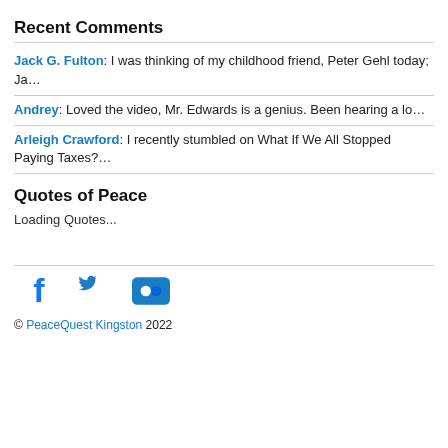Recent Comments
Jack G. Fulton: I was thinking of my childhood friend, Peter Gehl today; Ja…
Andrey: Loved the video, Mr. Edwards is a genius. Been hearing a lo…
Arleigh Crawford: I recently stumbled on What If We All Stopped Paying Taxes?…
Quotes of Peace
Loading Quotes...
© PeaceQuest Kingston 2022